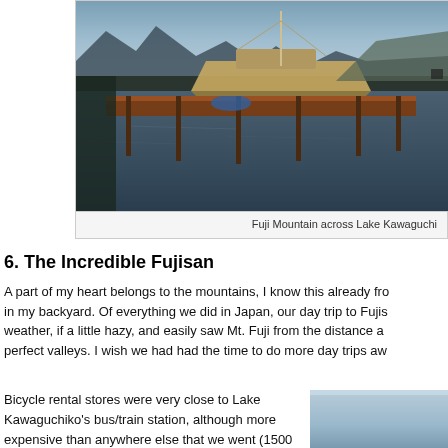[Figure (photo): A sailboat docked at a pier on Lake Kawaguchiko with mountains in the background, taken at dusk or dawn with dark water reflections.]
Fuji Mountain across Lake Kawaguchi
6. The Incredible Fujisan
A part of my heart belongs to the mountains, I know this already from in my backyard. Of everything we did in Japan, our day trip to Fujis weather, if a little hazy, and easily saw Mt. Fuji from the distance as perfect valleys. I wish we had had the time to do more day trips awa
Bicycle rental stores were very close to Lake Kawaguchiko's bus/train station, although more expensive than anywhere else that we went (1500 JPY for a day! Some other places were 500 JPY. Also side note: If you are tall, try the bike out a bit before you
[Figure (photo): Partial photo of Lake Kawaguchiko area, light blue/grey tones showing water or sky.]